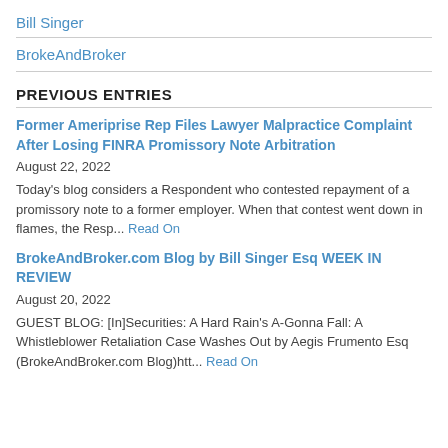Bill Singer
BrokeAndBroker
PREVIOUS ENTRIES
Former Ameriprise Rep Files Lawyer Malpractice Complaint After Losing FINRA Promissory Note Arbitration
August 22, 2022
Today's blog considers a Respondent who contested repayment of a promissory note to a former employer. When that contest went down in flames, the Resp... Read On
BrokeAndBroker.com Blog by Bill Singer Esq WEEK IN REVIEW
August 20, 2022
GUEST BLOG: [In]Securities: A Hard Rain's A-Gonna Fall: A Whistleblower Retaliation Case Washes Out by Aegis Frumento Esq (BrokeAndBroker.com Blog)htt... Read On